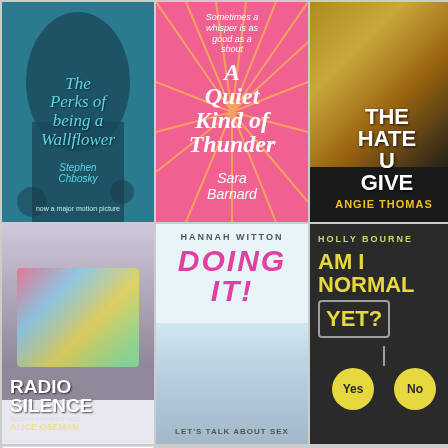[Figure (photo): Book cover: The Perks of Being a Wallflower by Stephen Chbosky - teal/blue cover with silhouette]
[Figure (photo): Book cover: A Quiet Kind of Thunder by Sara Barnard - pink cover with radiating lines, subtitle 'Sometimes a whisper is as good as a shout']
[Figure (photo): Book cover: The Hate U Give by Angie Thomas - dark cover with golden face silhouette]
[Figure (photo): Book cover: Radio Silence by Alice Oseman - colorful face with paint overlay]
[Figure (photo): Book cover: Doing It! by Hannah Witton - Let's Talk About Sex subtitle, person holding book over face]
[Figure (photo): Book cover: Am I Normal Yet? by Holly Bourne - dark cover with yellow text and flowchart with Yes/No circles]
[Figure (photo): Book cover: George (partial view) - white cover with rainbow colored title text]